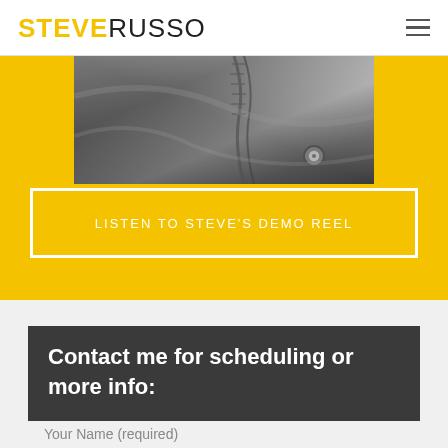STEVE RUSSO
[Figure (photo): Black and white close-up photo of a leather jacket with zipper detail]
LISTEN TO STEVE'S DEMO REEL
Contact me for scheduling or more info:
Your Name (required)